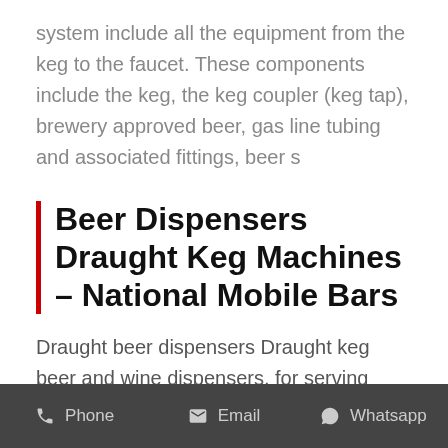system include all the equipment from the keg to the faucet. These components include the keg, the keg coupler (keg tap), brewery approved beer, gas line tubing and associated fittings, beer s
Beer Dispensers Draught Keg Machines – National Mobile Bars
Draught beer dispensers Draught keg beer and wine dispensers, for serving drinks direct from the keg. We have a large range of PortaPint and Lindr dispensers avialable for hire or purchase. National Mobile Bars was set up after
Phone   Email   Whatsapp